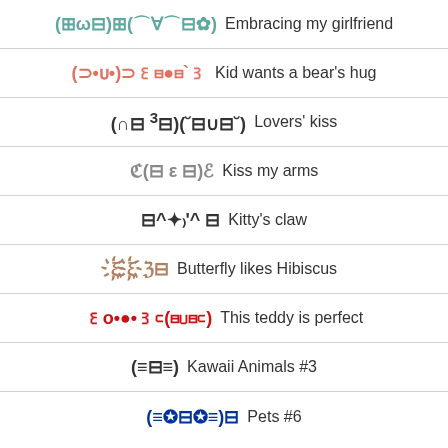(⊞ω⊟)⊞(⌒∀⌒⊟✿) Embracing my girlfriend
(⊃•ᴜ•)⊃꒰⊟●⊟꒱ Kid wants a bear's hug
(∩⊟ ³⊟)(˘⊟∪⊟˘) Lovers' kiss
ℭ(⊟ ε ⊟)ℰ Kiss my arms
⊟^✦₎'^ ⊟ Kitty's claw
ξ҉ξ҉ℨ⊟ Butterfly likes Hibiscus
꒰o•●•꒱⊂(⊟∪⊟⊂) This teddy is perfect
(≡⊟≡) Kawaii Animals #3
(≡✪⊟✪≡)⊟ Pets #6